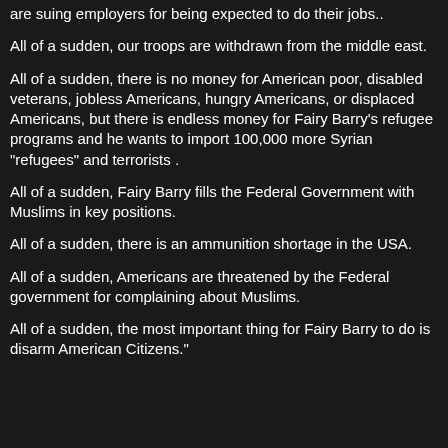are suing employers for being expected to do their jobs..
All of a sudden, our troops are withdrawn from the middle east.
All of a sudden, there is no money for American poor, disabled veterans, jobless Americans, hungry Americans, or displaced Americans, but there is endless money for Fairy Barry's refugee programs and he wants to import 100,000 more Syrian "refugees" and terrorists .
All of a sudden, Fairy Barry fills the Federal Government with Muslims in key positions.
All of a sudden, there is an ammunition shortage in the USA.
All of a sudden, Americans are threatened by the Federal government for complaining about Muslims.
All of a sudden, the most important thing for Fairy Barry to do is disarm American Citizens."